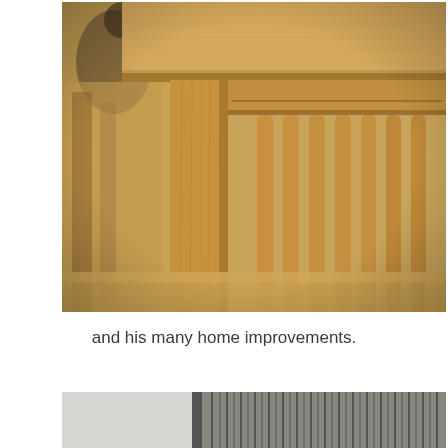[Figure (photo): Close-up photograph of wooden furniture — a table top and chair legs in warm oak/honey wood tones. A cat is partially visible in the blurred background.]
and his many home improvements.
[Figure (photo): Partial photograph at bottom of page showing metallic/silver surfaces, cropped.]